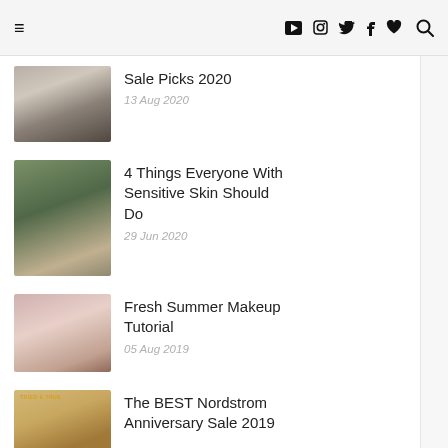≡ ▶ 📷 🐦 f ♥ 🔍
Sale Picks 2020 — 13 Aug 2020
4 Things Everyone With Sensitive Skin Should Do — 29 Jun 2020
Fresh Summer Makeup Tutorial — 05 Aug 2019
The BEST Nordstrom Anniversary Sale 2019